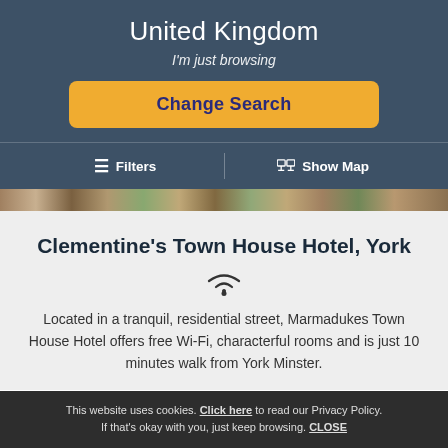United Kingdom
I'm just browsing
Change Search
≡ Filters   | Show Map
Clementine's Town House Hotel, York
Located in a tranquil, residential street, Marmadukes Town House Hotel offers free Wi-Fi, characterful rooms and is just 10 minutes walk from York Minster.
This website uses cookies. Click here to read our Privacy Policy. If that's okay with you, just keep browsing. CLOSE